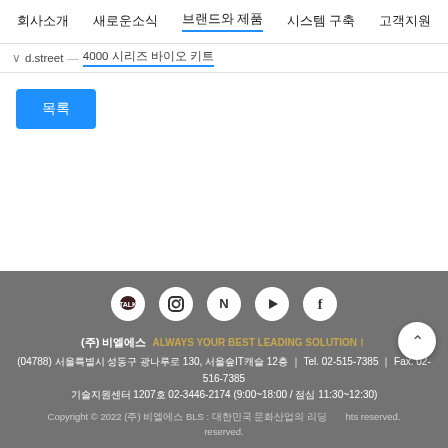회사소개  새로운소식  브랜드와 제품  시스템 구축  고객지원
d.street   4000 시리즈 바이오 키트
목록
[Figure (illustration): Five social media icons (KakaoTalk, Instagram, Naver, YouTube, Facebook) in white circles on grey background]
(주) 비엘에스   ALWAYS YOUR BEST LEADING SOLUTION！
(04788) 서울특별시 성동구 광나루로 130, 서울숲IT캐슬 12층 ｜ Tel. 02-515-7385 ｜ Fax. 02-516-7385
기술지원센터 1207호 02-3446-2174 (9:00~18:00 / 점심 11:30~12:30)
Copyright © 2022 (주) 비엘에스 BLS : 대한민국 문화산업의 리딩... All rights reserved.